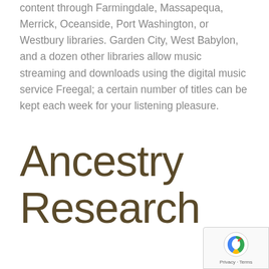content through Farmingdale, Massapequa, Merrick, Oceanside, Port Washington, or Westbury libraries. Garden City, West Babylon, and a dozen other libraries allow music streaming and downloads using the digital music service Freegal; a certain number of titles can be kept each week for your listening pleasure.
Ancestry Research